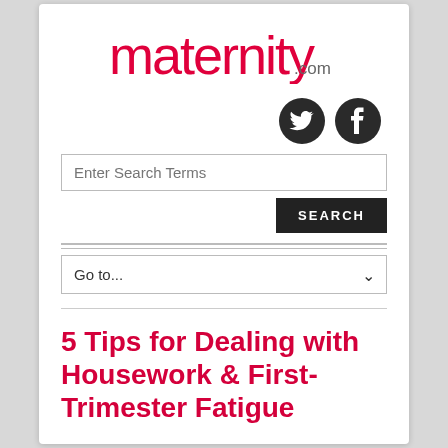[Figure (logo): maternity.com logo in red with .com in grey]
[Figure (other): Twitter and Facebook social media icons (dark circular icons)]
Enter Search Terms
SEARCH
Go to...
5 Tips for Dealing with Housework & First-Trimester Fatigue